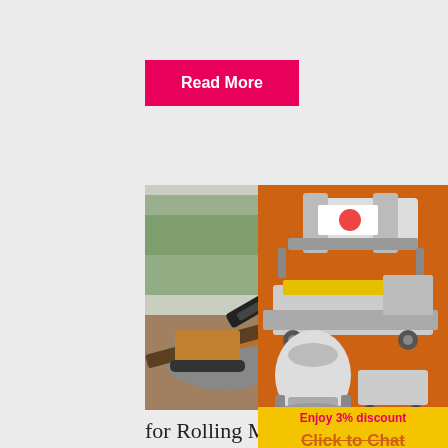Read More
[Figure (photo): Excavator and heavy machinery working at a mining/quarry site with crushed rock and dirt terrain, trees in background]
for Rolling Mills
Maintaining good relationship and reputa
[Figure (illustration): Orange advertisement banner showing three industrial crushing/milling machines, with text 'Enjoy 3% discount', 'Click to Chat', 'Enquiry', and email 'limingjlmofen@sina.com']
Read More